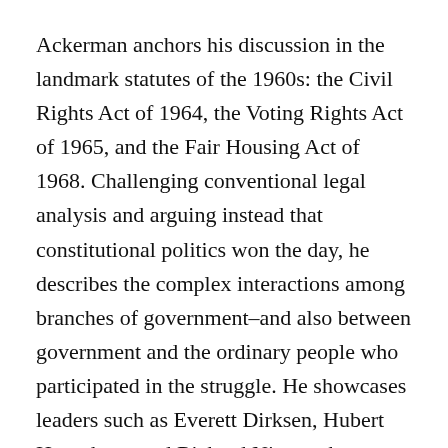Ackerman anchors his discussion in the landmark statutes of the 1960s: the Civil Rights Act of 1964, the Voting Rights Act of 1965, and the Fair Housing Act of 1968. Challenging conventional legal analysis and arguing instead that constitutional politics won the day, he describes the complex interactions among branches of government–and also between government and the ordinary people who participated in the struggle. He showcases leaders such as Everett Dirksen, Hubert Humphrey, and Richard Nixon who insisted on real change, not just formal equality, for blacks and other minorities.
The civil rights revolution transformed the Constitution, but not through judicial activism or Article V amendments. The breakthrough was the passage of